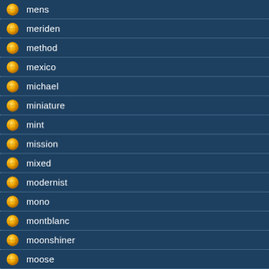mens
meriden
method
mexico
michael
miniature
mint
mission
mixed
modernist
mono
montblanc
moonshiner
moose
more